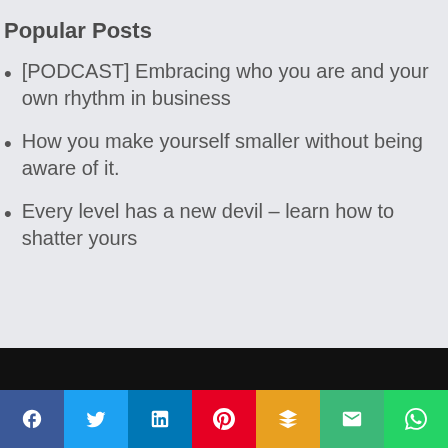Popular Posts
[PODCAST] Embracing who you are and your own rhythm in business
How you make yourself smaller without being aware of it.
Every level has a new devil – learn how to shatter yours